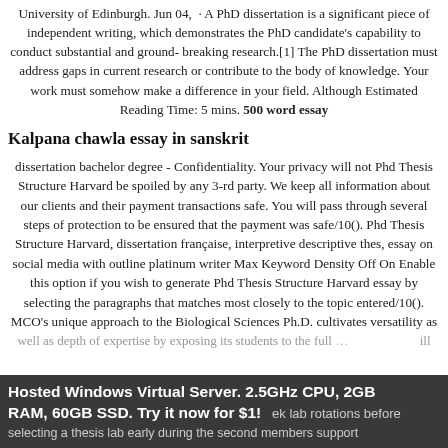University of Edinburgh. Jun 04, · A PhD dissertation is a significant piece of independent writing, which demonstrates the PhD candidate's capability to conduct substantial and ground-breaking research.[1] The PhD dissertation must address gaps in current research or contribute to the body of knowledge. Your work must somehow make a difference in your field. Although Estimated Reading Time: 5 mins. 500 word essay
Kalpana chawla essay in sanskrit
dissertation bachelor degree - Confidentiality. Your privacy will not Phd Thesis Structure Harvard be spoiled by any 3-rd party. We keep all information about our clients and their payment transactions safe. You will pass through several steps of protection to be ensured that the payment was safe/10(). Phd Thesis Structure Harvard, dissertation française, interpretive descriptive thes, essay on social media with outline platinum writer Max Keyword Density Off On Enable this option if you wish to generate Phd Thesis Structure Harvard essay by selecting the paragraphs that matches most closely to the topic entered/10(). MCO's unique approach to the Biological Sciences Ph.D. cultivates versatility as well as depth of expertise by exposing its students to the full … lab rotations before selecting a thesis lab early during the second members support
Hosted Windows Virtual Server. 2.5GHz CPU, 2GB RAM, 60GB SSD. Try it now for $1!